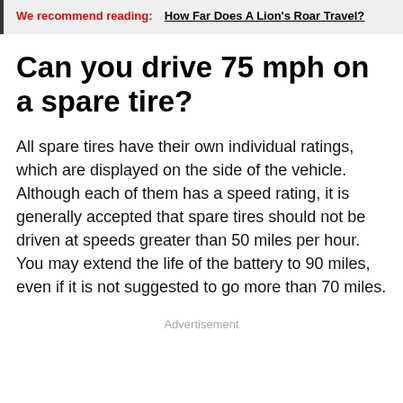We recommend reading: How Far Does A Lion's Roar Travel?
Can you drive 75 mph on a spare tire?
All spare tires have their own individual ratings, which are displayed on the side of the vehicle. Although each of them has a speed rating, it is generally accepted that spare tires should not be driven at speeds greater than 50 miles per hour. You may extend the life of the battery to 90 miles, even if it is not suggested to go more than 70 miles.
Advertisement